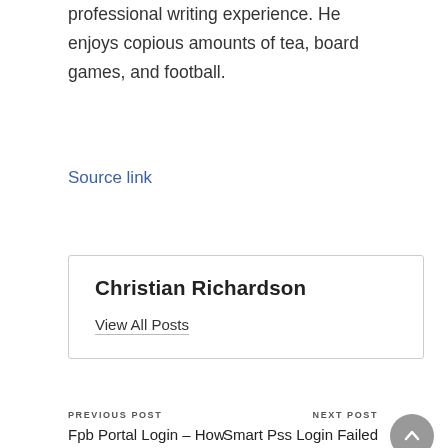professional writing experience. He enjoys copious amounts of tea, board games, and football.
Source link
Christian Richardson
View All Posts
PREVIOUS POST
Fpb Portal Login – How to Retrieve Forgot Fpb
NEXT POST
Smart Pss Login Failed Techyki.com